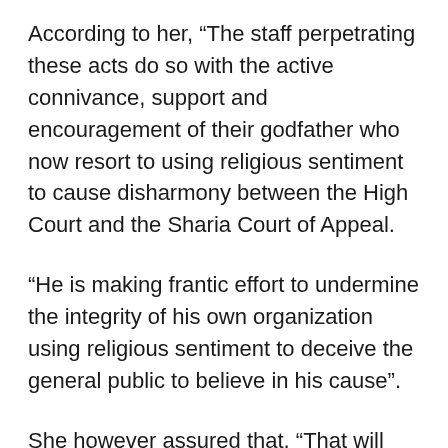According to her, “The staff perpetrating these acts do so with the active connivance, support and encouragement of their godfather who now resort to using religious sentiment to cause disharmony between the High Court and the Sharia Court of Appeal.
“He is making frantic effort to undermine the integrity of his own organization using religious sentiment to deceive the general public to believe in his cause”.
She however assured that, “That will not happened under my watch. With each complain against the nefarious activities of these disgruntled elements, I always direct the Chief Registrar to investigate and all the investigation reports are indicting the perpetrators which prompted hatred for the Chief Registrar. Such investigations are